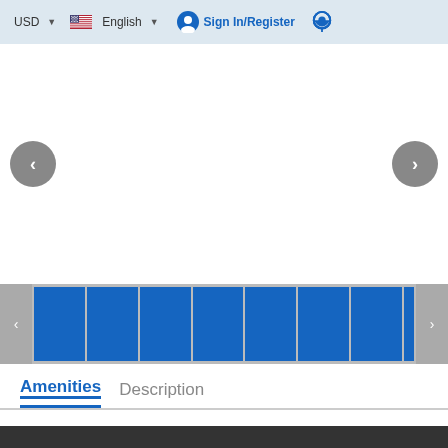USD  English  Sign In/Register
[Figure (screenshot): Main image carousel area with left and right navigation arrows on white background]
[Figure (screenshot): Horizontal thumbnail strip with 7 blue thumbnail placeholders and left/right navigation arrows on gray background]
Amenities  Description
[Figure (screenshot): Row of amenity icons: projector, presentation screen, presentation with slides, and partial fourth icon]